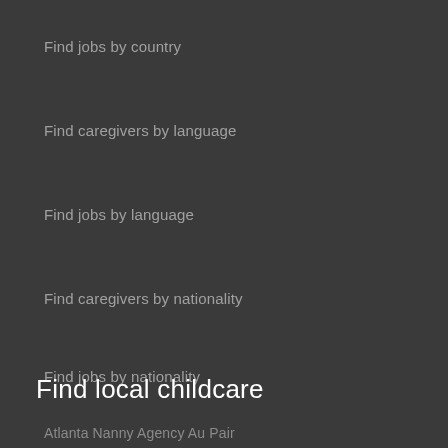Find jobs by country
Find caregivers by language
Find jobs by language
Find caregivers by nationality
Find jobs by nationality
Find local childcare
Atlanta Nanny Agency Au Pair